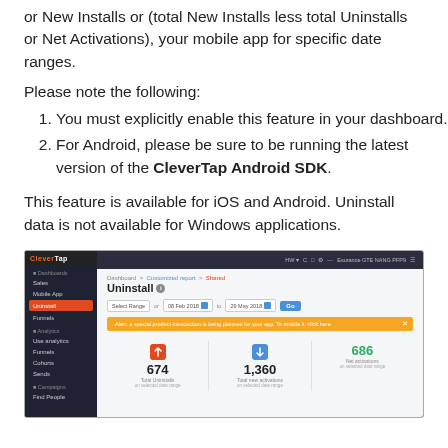or New Installs or (total New Installs less total Uninstalls or Net Activations), your mobile app for specific date ranges.
Please note the following:
You must explicitly enable this feature in your dashboard.
For Android, please be sure to be running the latest version of the CleverTap Android SDK.
This feature is available for iOS and Android. Uninstall data is not available for Windows applications.
[Figure (screenshot): Screenshot of CleverTap dashboard showing the Uninstall analytics page with date range filter, an alert banner in orange, and stats showing 674 Total Uninstalls, 1,360 Total New Activations, and 686 Net Activations in green.]